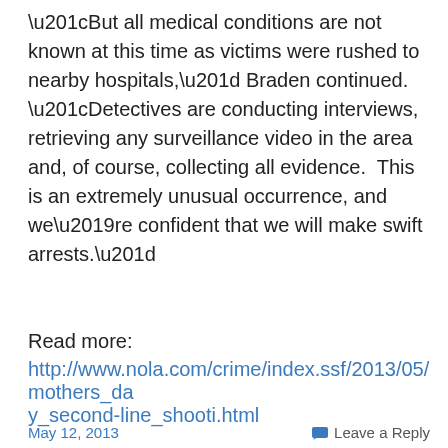“But all medical conditions are not known at this time as victims were rushed to nearby hospitals,” Braden continued. “Detectives are conducting interviews, retrieving any surveillance video in the area and, of course, collecting all evidence. This is an extremely unusual occurrence, and we’re confident that we will make swift arrests.”
Read more:
http://www.nola.com/crime/index.ssf/2013/05/mothers_day_second-line_shooti.html
May 12, 2013
Leave a Reply
Interstate 81 Should Reopen In